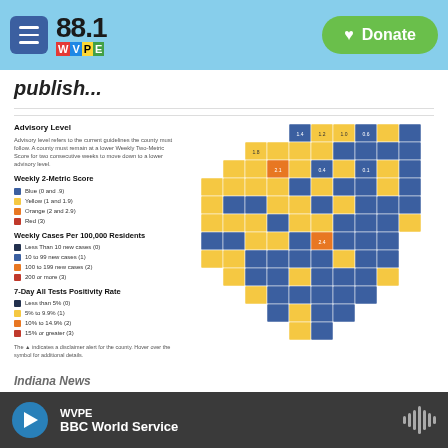88.1 WVPE — Donate
publish...
[Figure (map): Indiana county map showing COVID-19 advisory levels by county. Counties colored in blue (lower risk) and yellow/orange (higher risk). Legend shows Weekly 2-Metric Score, Weekly Cases Per 100,000 Residents, and 7-Day All Tests Positivity Rate categories.]
Indiana News
Less Than Half Of Hoosier
WVPE — BBC World Service